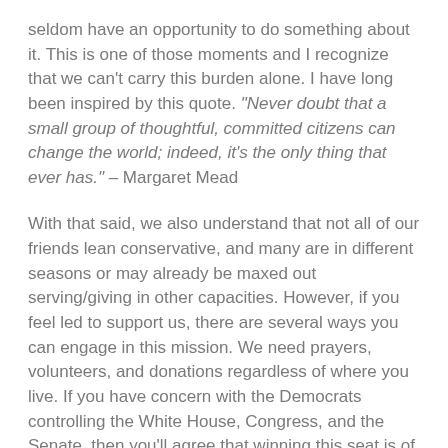seldom have an opportunity to do something about it. This is one of those moments and I recognize that we can't carry this burden alone. I have long been inspired by this quote. "Never doubt that a small group of thoughtful, committed citizens can change the world; indeed, it's the only thing that ever has." – Margaret Mead
With that said, we also understand that not all of our friends lean conservative, and many are in different seasons or may already be maxed out serving/giving in other capacities. However, if you feel led to support us, there are several ways you can engage in this mission. We need prayers, volunteers, and donations regardless of where you live. If you have concern with the Democrats controlling the White House, Congress, and the Senate, then you'll agree that winning this seat is of paramount importance. We only need to flip one seat to stop President Biden's big government socialist